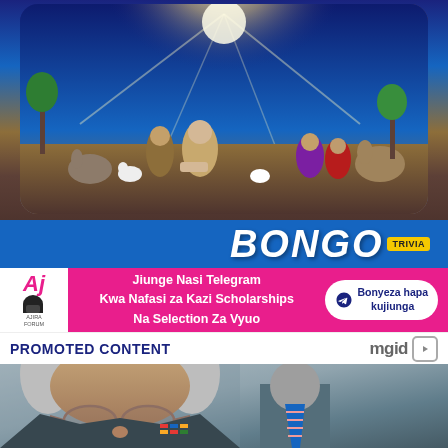[Figure (illustration): Nativity scene illustration showing the birth of Jesus with angels, wise men, animals including camels and a donkey, Mary and baby Jesus in a manger, set against a starry blue night sky, with the BONGO TRIVIA logo below on a blue background]
[Figure (infographic): Pink advertisement banner for Ajira Forum Telegram channel with text: Jiunge Nasi Telegram Kwa Nafasi za Kazi Scholarships Na Selection Za Vyuo, with a blue Bonyeza hapa kujiunga call-to-action button with telegram icon]
PROMOTED CONTENT
[Figure (photo): Close-up photograph of an elderly white-haired man wearing glasses and a dark suit, with another man in a blue striped tie visible in the background]